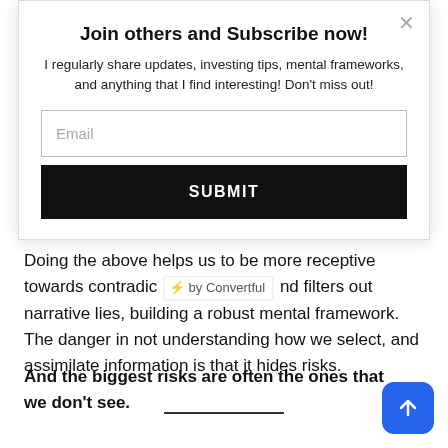Join others and Subscribe now!
I regularly share updates, investing tips, mental frameworks, and anything that I find interesting! Don't miss out!
[Figure (screenshot): Email input field with placeholder text 'Email']
[Figure (screenshot): Black SUBMIT button]
Doing the above helps us to be more receptive towards contradic ⚡ by Convertful nd filters out narrative lies, building a robust mental framework. The danger in not understanding how we select, and assimilate information is that it hides risks.
And the biggest risks are often the ones that we don't see.